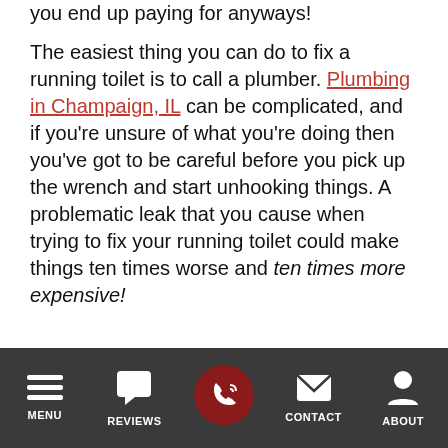you end up paying for anyways!

The easiest thing you can do to fix a running toilet is to call a plumber. Plumbing in Champaign, IL can be complicated, and if you're unsure of what you're doing then you've got to be careful before you pick up the wrench and start unhooking things. A problematic leak that you cause when trying to fix your running toilet could make things ten times worse and ten times more expensive!
MENU  REVIEWS  CONTACT  ABOUT